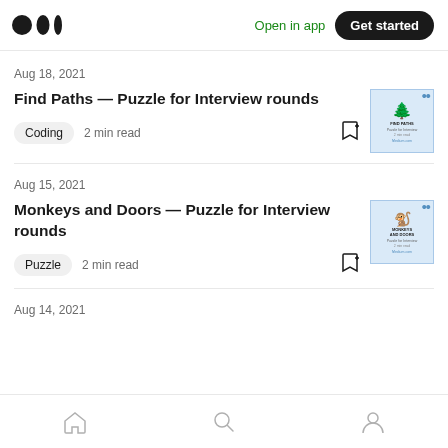Medium logo | Open in app | Get started
Aug 18, 2021
Find Paths — Puzzle for Interview rounds
Coding  2 min read
[Figure (screenshot): Thumbnail image for 'Find Paths — Puzzle for Interview rounds' article]
Aug 15, 2021
Monkeys and Doors — Puzzle for Interview rounds
Puzzle  2 min read
[Figure (screenshot): Thumbnail image for 'Monkeys and Doors — Puzzle for Interview rounds' article]
Aug 14, 2021
Home | Search | Profile